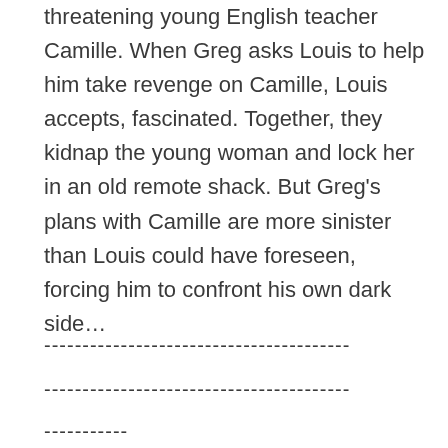threatening young English teacher Camille. When Greg asks Louis to help him take revenge on Camille, Louis accepts, fascinated. Together, they kidnap the young woman and lock her in an old remote shack. But Greg’s plans with Camille are more sinister than Louis could have foreseen, forcing him to confront his own dark side…
----------------------------------------
----------------------------------------
-----------